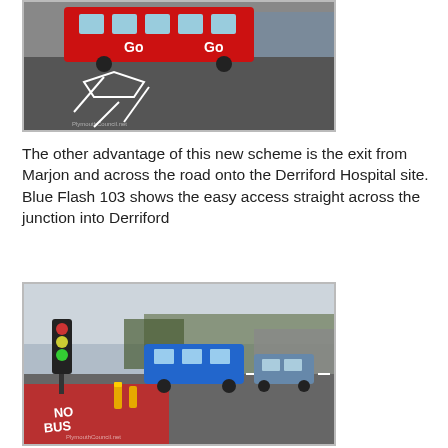[Figure (photo): Red bus on a road junction with white road markings, taken from street level. Watermark visible at bottom left.]
The other advantage of this new scheme is the exit from Marjon and across the road onto the Derriford Hospital site. Blue Flash 103 shows the easy access straight across the junction into Derriford
[Figure (photo): Blue bus entering a junction with a red bus lane marked 'NO BUS' on the road, traffic lights visible, trees in background. Watermark visible at bottom left.]